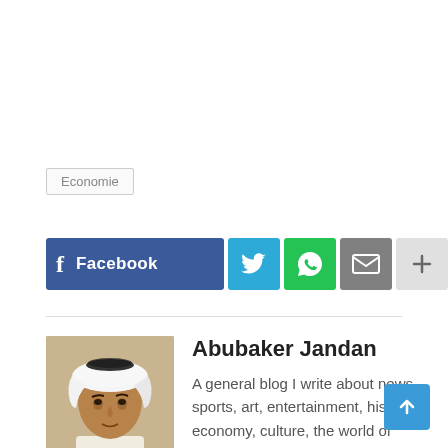Economie
[Figure (infographic): Social sharing buttons: Facebook (blue with f icon and label), Twitter (blue bird icon), WhatsApp (green phone icon), Email (grey envelope icon), More (grey plus icon)]
[Figure (photo): Portrait photo of Abubaker Jandan, a man wearing a white ghutra]
Abubaker Jandan
A general blog I write about news, sports, art, entertainment, history, economy, culture, the world of technology and science